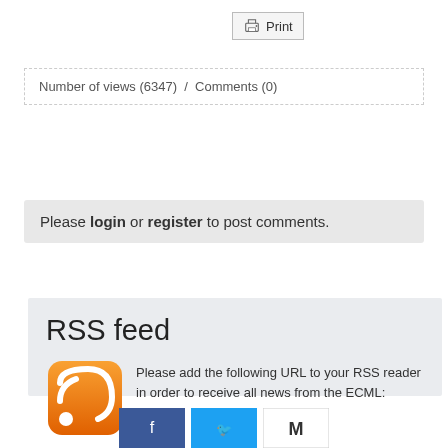[Figure (other): Print button with printer icon]
Number of views (6347) / Comments (0)
Please login or register to post comments.
RSS feed
Please add the following URL to your RSS reader in order to receive all news from the ECML:
//www.ecml.at/News3/TabId/643/ctl/rss/mid/2666/Default.aspx
Here you can view all news and RSS feeds from the ECML.
[Figure (other): Social media share buttons (Facebook, Twitter, and another platform)]